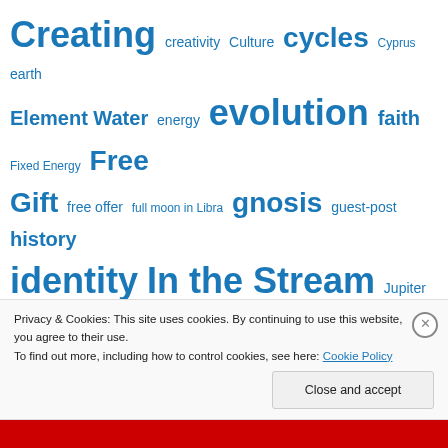[Figure (other): Tag cloud with astrology and blog topic tags in varying sizes and blue color]
Privacy & Cookies: This site uses cookies. By continuing to use this website, you agree to their use. To find out more, including how to control cookies, see here: Cookie Policy
Close and accept